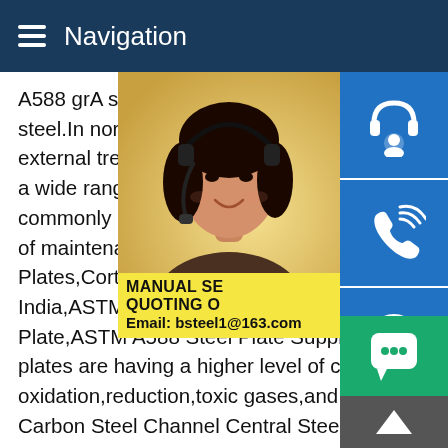Navigation
A588 grA steel is therefore classed as bei... steel.In normal use the material does not r... external treatment any kind.Weather resis... a wide range of structural applications.A58... commonly used product in bridge constru... of maintenance A588 GR.A Plates,ASME Plates,Corten Steel ASTM A588 Grade B S... India,ASTM A588 Grade A Steel Plate Exp... Plate,ASTM A588 Steel Plate Supplier in M... plates are having a higher level of corrosi... oxidation,reduction,toxic gases,and reactive chemicals.A588 Carbon Steel Channel Central Steel ServiceHigh Strength Weathering Steel Channels.ASTM A588 and A709-50W corros... resistant and high-strength steel channels are available in the various sizes listed.A588 Carbon Steel Channels are consider... the ASTM equivalent for CorTen 50 or 588 corr...
[Figure (photo): Customer service representative woman wearing headset]
[Figure (infographic): Blue side buttons: headset icon, phone icon, Skype icon]
MANUAL SE... QUOTING O... Email: bsteel1@163.com
[Figure (infographic): Green chat button and grey up-arrow navigation button]